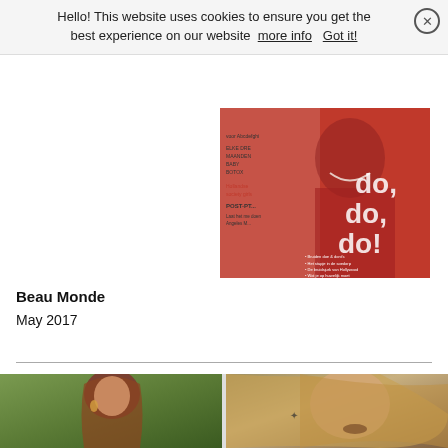Hello! This website uses cookies to ensure you get the best experience on our website more info Got it!
[Figure (photo): Magazine cover of Beau Monde May 2017, showing a woman in a red blazer with pearl necklace, with text 'do, do, do!' overlaid]
Beau Monde
May 2017
[Figure (photo): Two women with long hair, one brunette on the left in a green foliage setting, one blonde on the right with a tattoo visible on her wrist]